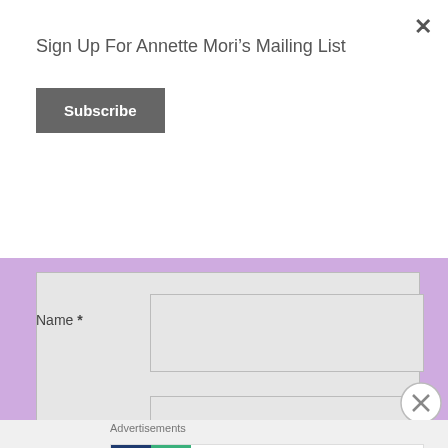Sign Up For Annette Mori's Mailing List
Subscribe
[Figure (screenshot): A text area input box with light gray background and a resize handle at bottom right]
Name *
[Figure (screenshot): A name text input field with light gray background]
[Figure (screenshot): A second input field partially visible]
Advertisements
[Figure (infographic): Pocket Casts advertisement banner: 'The go-to app for podcast lovers.' with Pocket Casts logo]